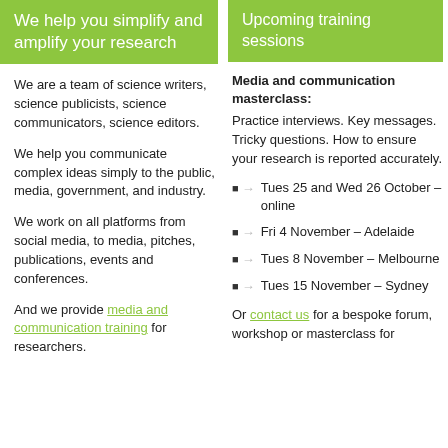We help you simplify and amplify your research
We are a team of science writers, science publicists, science communicators, science editors.
We help you communicate complex ideas simply to the public, media, government, and industry.
We work on all platforms from social media, to media, pitches, publications, events and conferences.
And we provide media and communication training for researchers.
Upcoming training sessions
Media and communication masterclass:
Practice interviews. Key messages. Tricky questions. How to ensure your research is reported accurately.
Tues 25 and Wed 26 October – online
Fri 4 November – Adelaide
Tues 8 November – Melbourne
Tues 15 November – Sydney
Or contact us for a bespoke forum, workshop or masterclass for